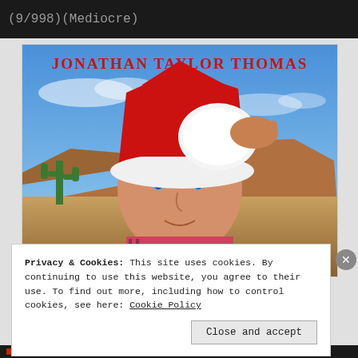(9/998)(Mediocre)
[Figure (photo): Movie cover image for a Jonathan Taylor Thomas film. Shows a teenage boy wearing a large red and white Santa hat, holding the brim, with a desert landscape with cactus in the background and a blue sky. Text at top reads 'JONATHAN TAYLOR THOMAS' in red letters.]
Privacy & Cookies: This site uses cookies. By continuing to use this website, you agree to their use. To find out more, including how to control cookies, see here: Cookie Policy
Close and accept